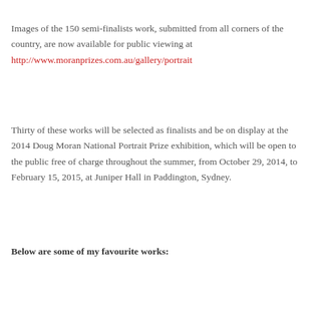Images of the 150 semi-finalists work, submitted from all corners of the country, are now available for public viewing at http://www.moranprizes.com.au/gallery/portrait
Thirty of these works will be selected as finalists and be on display at the 2014 Doug Moran National Portrait Prize exhibition, which will be open to the public free of charge throughout the summer, from October 29, 2014, to February 15, 2015, at Juniper Hall in Paddington, Sydney.
Below are some of my favourite works: